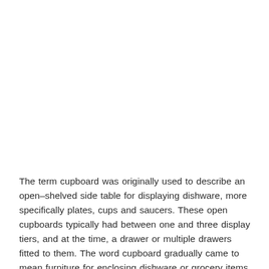The term cupboard was originally used to describe an open–shelved side table for displaying dishware, more specifically plates, cups and saucers. These open cupboards typically had between one and three display tiers, and at the time, a drawer or multiple drawers fitted to them. The word cupboard gradually came to mean furniture for enclosing dishware or grocery items that are stored in a